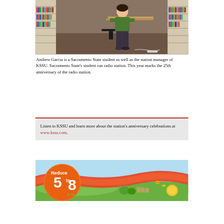[Figure (photo): Andrew Garcia sitting at a desk in the KSSU radio station, surrounded by shelves of CDs/records on both sides. He is wearing a green shirt and dark pants, working at the studio desk.]
Andrew Garcia is a Sacramento State student as well as the station manager of KSSU. Sacramento State's student run radio station. This year marks the 25th anniversary of the radio station.
Listen to KSSU and learn more about the station's anniversary celebrations at www.kssu.com.
[Figure (infographic): An advertisement banner showing 'Reduce 5 to 8 p.m.' with orange/green illustrated design, featuring a castle and bees in a colorful illustrated landscape.]